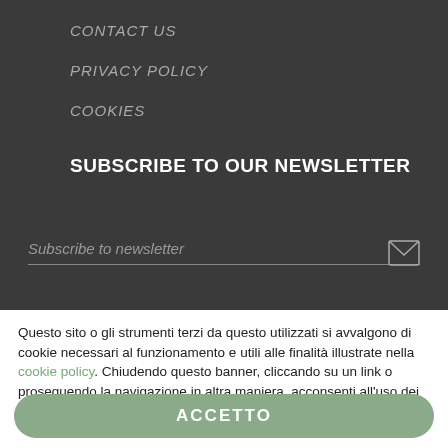CONTACT US
PRIVACY POLICY
COOKIES
SUBSCRIBE TO OUR NEWSLETTER
[Figure (screenshot): Email subscription input field with placeholder text 'Subscribe to newsletter' and an envelope icon on the right]
Questo sito o gli strumenti terzi da questo utilizzati si avvalgono di cookie necessari al funzionamento e utili alle finalità illustrate nella cookie policy. Chiudendo questo banner, cliccando su un link o proseguendo la navigazione in altra maniera, acconsenti all'uso dei cookie.
ACCETTO